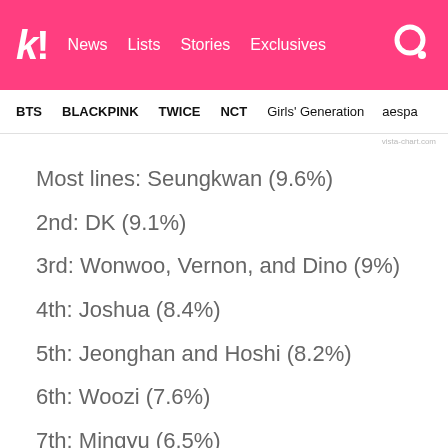kl! News Lists Stories Exclusives
BTS BLACKPINK TWICE NCT Girls' Generation aespa
vista-chart.com
Most lines: Seungkwan (9.6%)
2nd: DK (9.1%)
3rd: Wonwoo, Vernon, and Dino (9%)
4th: Joshua (8.4%)
5th: Jeonghan and Hoshi (8.2%)
6th: Woozi (7.6%)
7th: Mingyu (6.5%)